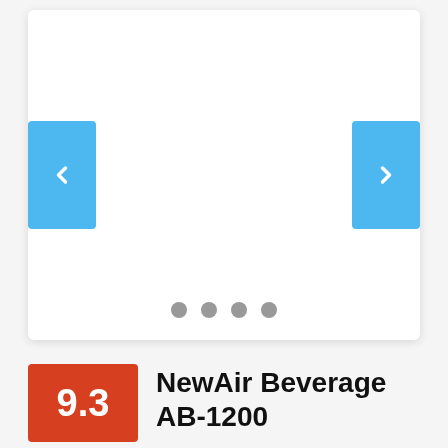[Figure (screenshot): Image carousel with blue left and right navigation arrow buttons and four gray indicator dots at the bottom. The carousel content area is empty/white.]
9.3
NewAir Beverage AB-1200